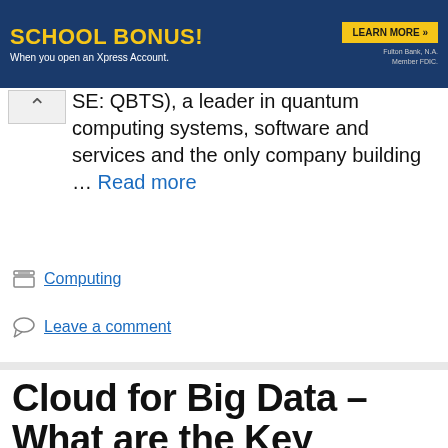[Figure (screenshot): Banner advertisement with dark blue background. Left side has bold yellow text 'SCHOOL BONUS!' with white subtitle 'When you open an Xpress Account.' Right side has a yellow 'LEARN MORE »' button and small FDIC disclaimer text.]
SE: QBTS), a leader in quantum computing systems, software and services and the only company building … Read more
Computing
Leave a comment
Cloud for Big Data – What are the Key Benefits and Drawbacks